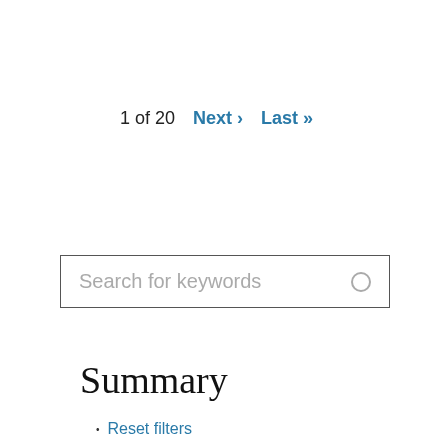1 of 20   Next ›   Last »
[Figure (other): Search input box with placeholder text 'Search for keywords' and a small circle search icon on the right]
Summary
Reset filters